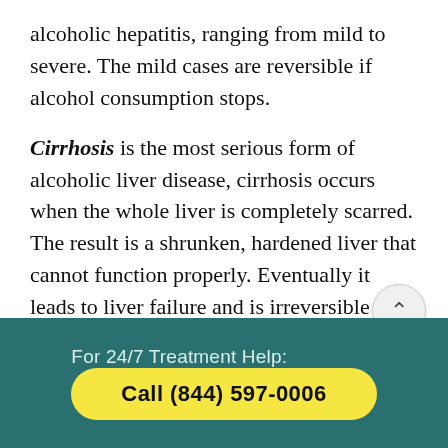alcoholic hepatitis, ranging from mild to severe. The mild cases are reversible if alcohol consumption stops.
Cirrhosis is the most serious form of alcoholic liver disease, cirrhosis occurs when the whole liver is completely scarred. The result is a shrunken, hardened liver that cannot function properly. Eventually it leads to liver failure and is irreversible in most cases. A person who drinks heavily is at nearly a 20 percent chance of developing cirrhosis after about ten years.
For 24/7 Treatment Help: Call (844) 597-0006